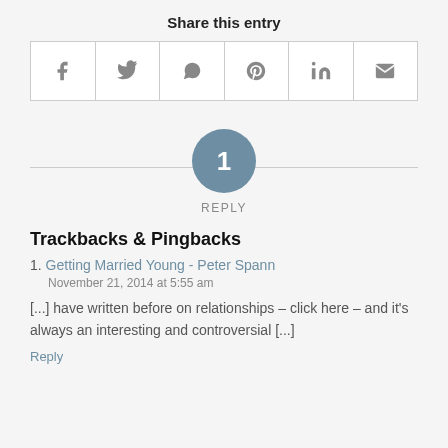Share this entry
[Figure (infographic): Row of six social sharing icon buttons: Facebook (f), Twitter (bird), WhatsApp (phone), Pinterest (P), LinkedIn (in), Email (envelope)]
[Figure (infographic): Circle with number 1 centered on a horizontal divider line, with text REPLY below]
Trackbacks & Pingbacks
1. Getting Married Young - Peter Spann
November 21, 2014 at 5:55 am
[...] have written before on relationships – click here – and it's always an interesting and controversial [...]
Reply